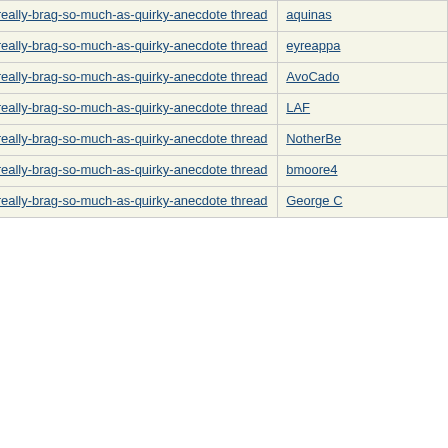| Topic | User |
| --- | --- |
| Re: Not-really-brag-so-much-as-quirky-anecdote thread | aquinas |
| Re: Not-really-brag-so-much-as-quirky-anecdote thread | eyreappa |
| Re: Not-really-brag-so-much-as-quirky-anecdote thread | AvoCado |
| Re: Not-really-brag-so-much-as-quirky-anecdote thread | LAF |
| Re: Not-really-brag-so-much-as-quirky-anecdote thread | NotherBe |
| Re: Not-really-brag-so-much-as-quirky-anecdote thread | bmoore4 |
| Re: Not-really-brag-so-much-as-quirky-anecdote thread | George C |